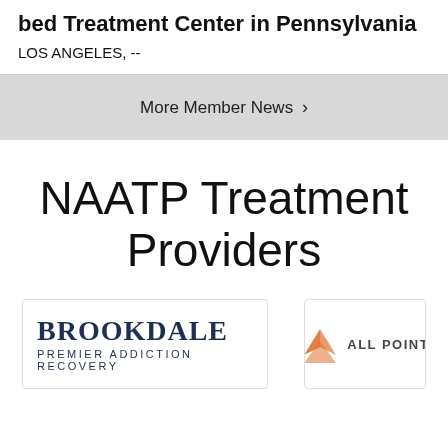bed Treatment Center in Pennsylvania
LOS ANGELES, --
More Member News >
NAATP Treatment Providers
[Figure (logo): Brookdale Premier Addiction Recovery logo — navy serif text reading BROOKDALE with subtitle PREMIER ADDICTION RECOVERY]
[Figure (logo): All Point logo — orange chevron/arrow icon with text ALL POINT]